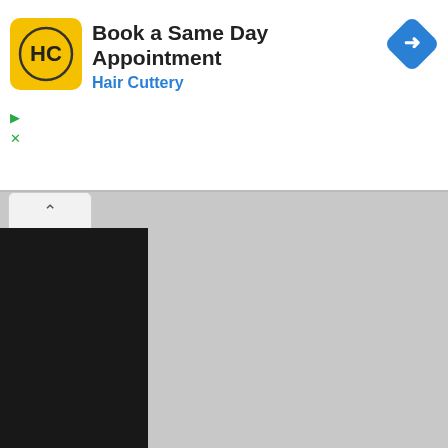[Figure (screenshot): Advertisement banner for Hair Cuttery: 'Book a Same Day Appointment' with yellow HC logo and navigation arrow icon]
[Figure (screenshot): The Sims Resource website screenshot showing 'Vintage Vanity Bath' by cashcraft, dated 28/Jun/2010, with bathroom furnishing images and a Donation/Pay button]
Vintage Vanity bath by cashcraft at TSR